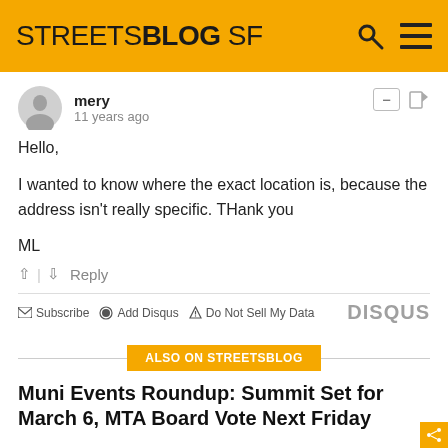STREETSBLOG SF
mery
11 years ago
Hello,

I wanted to know where the exact location is, because the address isn't really specific. THank you

ML
↑ | ↓ Reply
✉ Subscribe  ⊙ Add Disqus  ▲ Do Not Sell My Data  DISQUS
ALSO ON STREETSBLOG
Muni Events Roundup: Summit Set for March 6, MTA Board Vote Next Friday